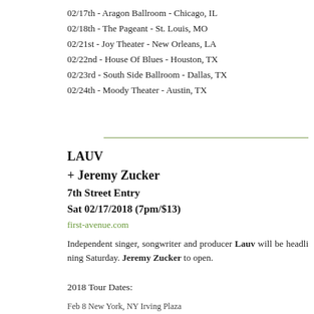02/17th - Aragon Ballroom - Chicago, IL
02/18th - The Pageant - St. Louis, MO
02/21st - Joy Theater - New Orleans, LA
02/22nd - House Of Blues - Houston, TX
02/23rd - South Side Ballroom - Dallas, TX
02/24th - Moody Theater - Austin, TX
LAUV
+ Jeremy Zucker
7th Street Entry
Sat 02/17/2018 (7pm/$13)
first-avenue.com
Independent singer, songwriter and producer Lauv will be headlining Saturday. Jeremy Zucker to open.
2018 Tour Dates:
Feb 8 New York, NY Irving Plaza